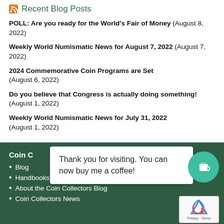Recent Blog Posts
POLL: Are you ready for the World's Fair of Money (August 8, 2022)
Weekly World Numismatic News for August 7, 2022 (August 7, 2022)
2024 Commemorative Coin Programs are Set (August 6, 2022)
Do you believe that Congress is actually doing something! (August 1, 2022)
Weekly World Numismatic News for July 31, 2022 (August 1, 2022)
Thank you for visiting. You can now buy me a coffee!
Coin C...
Blog
Handbooks & Guides
About the Coin Collectors Blog
Coin Collectors News